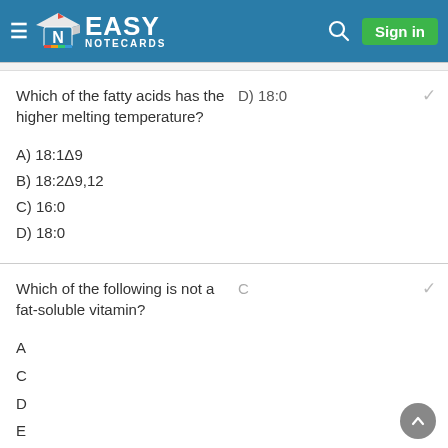Easy Notecards — Sign in
Which of the fatty acids has the higher melting temperature?
D) 18:0
A) 18:1Δ9
B) 18:2Δ9,12
C) 16:0
D) 18:0
Which of the following is not a fat-soluble vitamin?
C
A
C
D
E